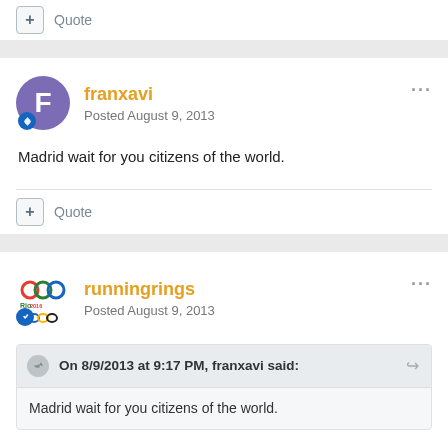+ Quote
franxavi
Posted August 9, 2013
Madrid wait for you citizens of the world.
+ Quote
runningrings
Posted August 9, 2013
On 8/9/2013 at 9:17 PM, franxavi said:
Madrid wait for you citizens of the world.